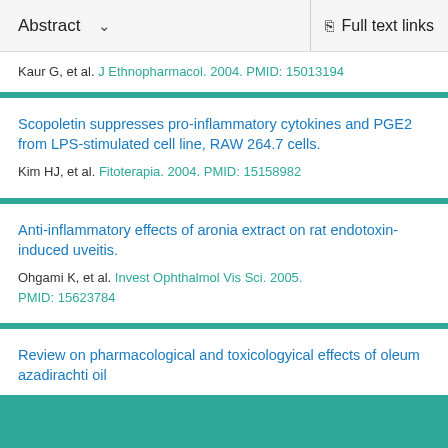Abstract  ∨    Full text links
Kaur G, et al. J Ethnopharmacol. 2004. PMID: 15013194
Scopoletin suppresses pro-inflammatory cytokines and PGE2 from LPS-stimulated cell line, RAW 264.7 cells.
Kim HJ, et al. Fitoterapia. 2004. PMID: 15158982
Anti-inflammatory effects of aronia extract on rat endotoxin-induced uveitis.
Ohgami K, et al. Invest Ophthalmol Vis Sci. 2005.
PMID: 15623784
Review on pharmacological and toxicologyical effects of oleum azadirachti oil